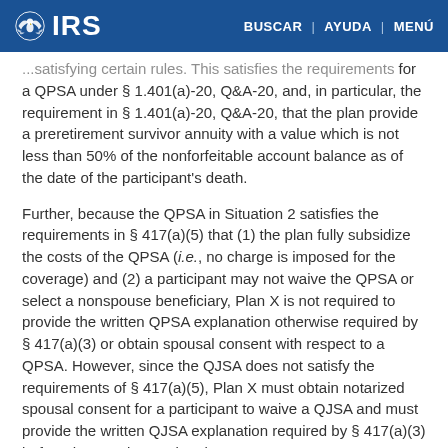IRS | BUSCAR | AYUDA | MENÚ
...satisfying certain rules. This satisfies the requirements for a QPSA under § 1.401(a)-20, Q&A-20, and, in particular, the requirement in § 1.401(a)-20, Q&A-20, that the plan provide a preretirement survivor annuity with a value which is not less than 50% of the nonforfeitable account balance as of the date of the participant's death.
Further, because the QPSA in Situation 2 satisfies the requirements in § 417(a)(5) that (1) the plan fully subsidize the costs of the QPSA (i.e., no charge is imposed for the coverage) and (2) a participant may not waive the QPSA or select a nonspouse beneficiary, Plan X is not required to provide the written QPSA explanation otherwise required by § 417(a)(3) or obtain spousal consent with respect to a QPSA. However, since the QJSA does not satisfy the requirements of § 417(a)(5), Plan X must obtain notarized spousal consent for a participant to waive a QJSA and must provide the written QJSA explanation required by § 417(a)(3) before the annuity starting date.